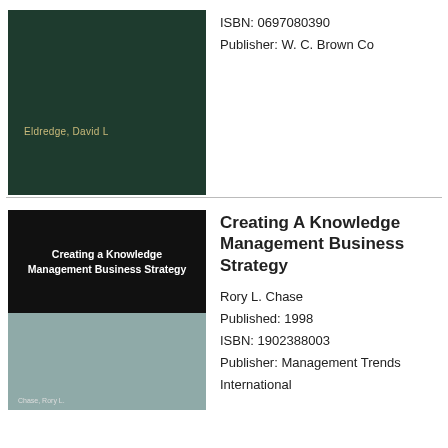[Figure (photo): Book cover of a dark green book with author name 'Eldredge, David L' printed in gold text near the bottom.]
ISBN: 0697080390
Publisher: W. C. Brown Co
[Figure (photo): Book cover with black top section showing title 'Creating a Knowledge Management Business Strategy' in white text, and a teal/grey bottom section with author name 'Chase, Rory L.']
Creating A Knowledge Management Business Strategy
Rory L. Chase
Published: 1998
ISBN: 1902388003
Publisher: Management Trends International